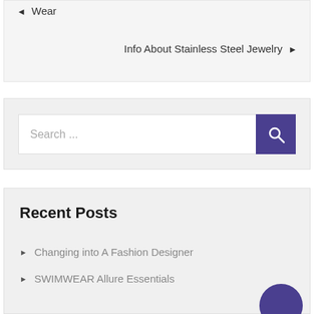◄ Wear
Info About Stainless Steel Jewelry ►
Search ...
Recent Posts
Changing into A Fashion Designer
SWIMWEAR Allure Essentials